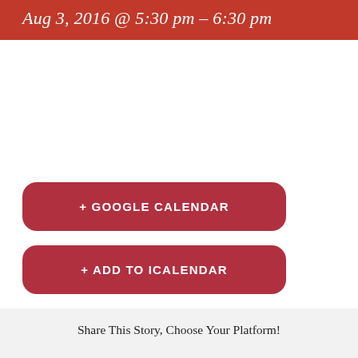Aug 3, 2016 @ 5:30 pm – 6:30 pm
+ GOOGLE CALENDAR
+ ADD TO ICALENDAR
Share This Story, Choose Your Platform!